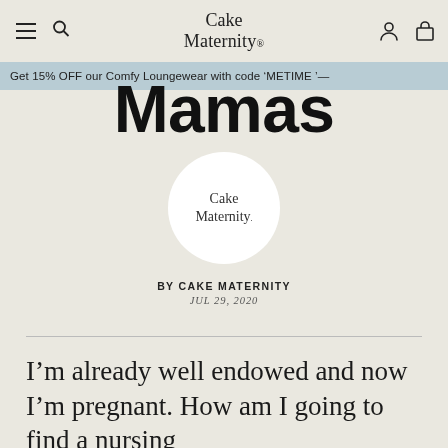Cake Maternity
Get 15% OFF our Comfy Loungewear with code 'METIME' —
Mamas
[Figure (logo): Cake Maternity circular logo on white circle background]
BY CAKE MATERNITY
JUL 29, 2020
I'm already well endowed and now I'm pregnant. How am I going to find a nursing